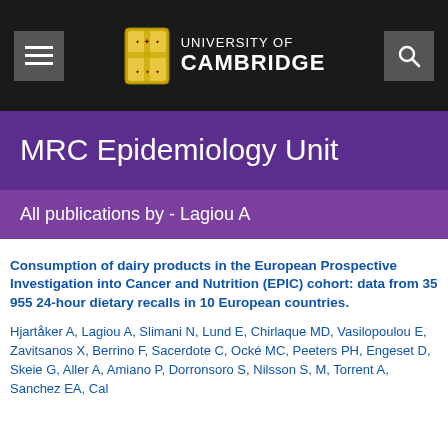University of Cambridge
MRC Epidemiology Unit
All publications by - Lagiou A
Consumption of dairy products in the European Prospective Investigation into Cancer and Nutrition (EPIC) cohort: data from 35 955 24-hour dietary recalls in 10 European countries.
Hjartåker A, Lagiou A, Slimani N, Lund E, Chirlaque MD, Vasilopoulou E, Zavitsanos X, Berrino F, Sacerdote C, Ocké MC, Peeters PH, Engeset D, Skeie G, Aller A, Amiano P, Dorronsoro S, Nilsson S, M, Torrent A, Sanchez EA, Cal